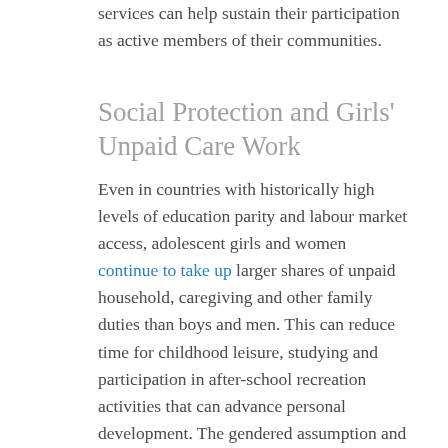services can help sustain their participation as active members of their communities.
Social Protection and Girls' Unpaid Care Work
Even in countries with historically high levels of education parity and labour market access, adolescent girls and women continue to take up larger shares of unpaid household, caregiving and other family duties than boys and men. This can reduce time for childhood leisure, studying and participation in after-school recreation activities that can advance personal development. The gendered assumption and practice that girls should be responsible for assisting their mothers or other women with household activities entrenches gendered roles and influences girls'